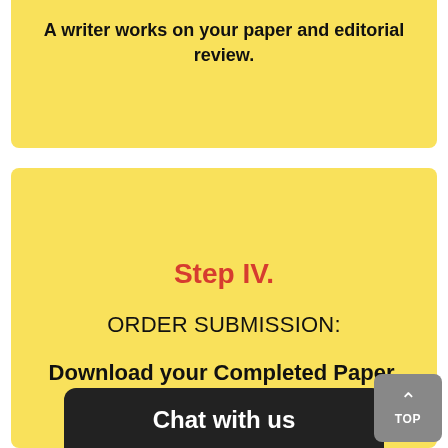A writer works on your paper and editorial review.
Step IV.
ORDER SUBMISSION:
Download your Completed Paper.
Chat with us